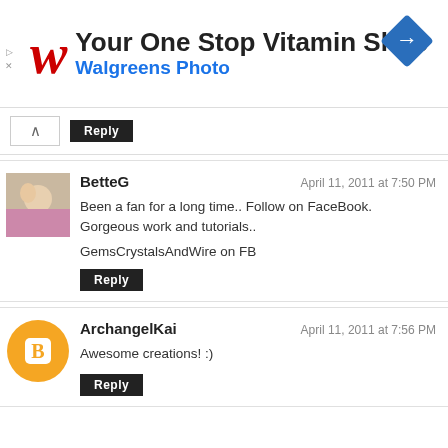[Figure (other): Walgreens advertisement banner: 'Your One Stop Vitamin Shop' with Walgreens logo (red cursive W) and Walgreens Photo text in blue, with a blue diamond navigation icon on the right.]
Reply
BetteG
April 11, 2011 at 7:50 PM
Been a fan for a long time.. Follow on FaceBook.
Gorgeous work and tutorials..

GemsCrystalsAndWire on FB
Reply
ArchangelKai
April 11, 2011 at 7:56 PM
Awesome creations! :)
Reply